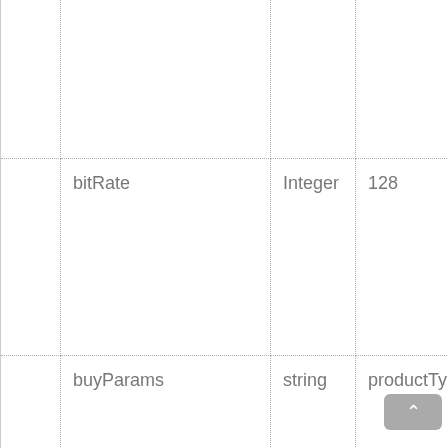|  |  |  |  |
| bitRate | Integer | 128 |  |
| buyParams | string | productType=S&sa… |  |